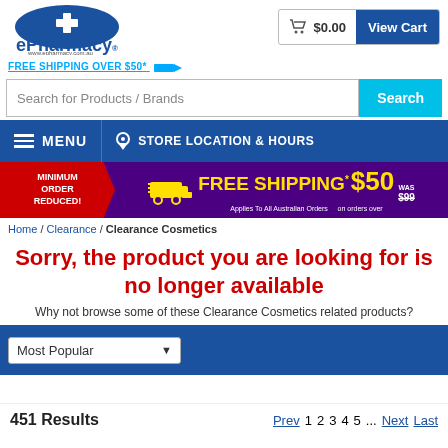[Figure (logo): ePharmacy logo with blue semicircle and cross, www.epharmacy.com.au]
FREE SHIPPING OVER $50*
$0.00  View Cart
Search for Products / Brands  Search
MENU  STORE LOCATION & HOURS
[Figure (infographic): Promotional banner: MINIMUM ORDER REDUCED! FREE SHIPPING* $50 on orders over WAS $99. Applies To All Australian Orders.]
Home / Clearance / Clearance Cosmetics
Sorry, the product you are looking for is no longer available
Why not browse some of these Clearance Cosmetics related products?
Most Popular
451 Results  Prev  1  2  3  4  5 ...  Next  Last